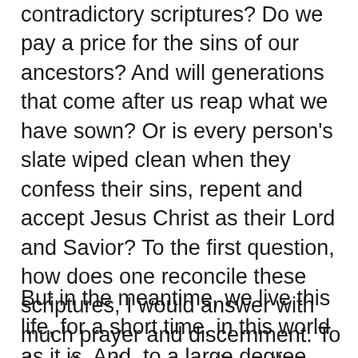contradictory scriptures? Do we pay a price for the sins of our ancestors? And will generations that come after us reap what we have sown? Or is every person's slate wiped clean when they confess their sins, repent and accept Jesus Christ as their Lord and Savior? To the first question, how does one reconcile these scriptures, I would answer with much prayer and discernment. To the other three questions, the answer is yes, yes, and yes. Yes, we pay a price for the sins of our ancestors. Yes, those who come after us will reap what we have sown, both good and bad. And Yes, every person's soul may be saved by confession, repentance and following Jesus Christ as their Lord and Savior.
But in the meantime, we live this life, for a short time, in this world as it is. And, to a large degree this world as it is, as well as each of our own little worlds, has been shaped by those who went before us.